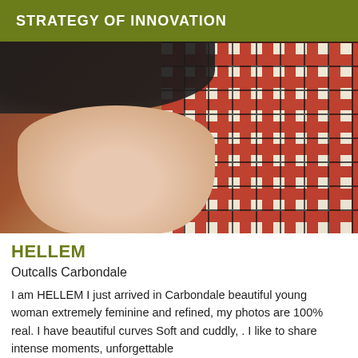STRATEGY OF INNOVATION
[Figure (photo): Photo of a person in black clothing on a plaid blanket/surface]
HELLEM
Outcalls Carbondale
I am HELLEM I just arrived in Carbondale beautiful young woman extremely feminine and refined, my photos are 100% real. I have beautiful curves Soft and cuddly, . I like to share intense moments, unforgettable